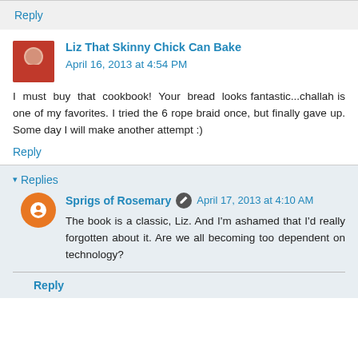Reply
Liz That Skinny Chick Can Bake  April 16, 2013 at 4:54 PM
I must buy that cookbook! Your bread looks fantastic...challah is one of my favorites. I tried the 6 rope braid once, but finally gave up. Some day I will make another attempt :)
Reply
Replies
Sprigs of Rosemary  April 17, 2013 at 4:10 AM
The book is a classic, Liz. And I'm ashamed that I'd really forgotten about it. Are we all becoming too dependent on technology?
Reply